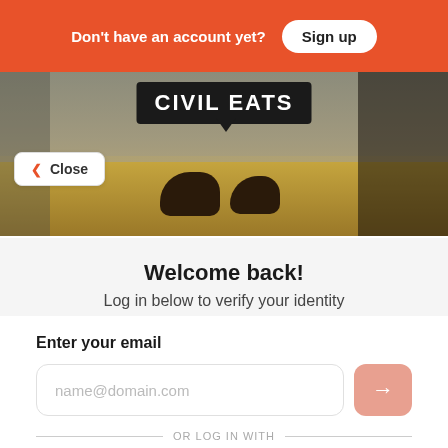Don't have an account yet?  Sign up
[Figure (photo): Hero image showing bison in a field, with Civil Eats logo/speech bubble overlay, and a Close button overlaid at bottom-left]
Welcome back!
Log in below to verify your identity
Enter your email
name@domain.com
OR LOG IN WITH
Facebook
Google